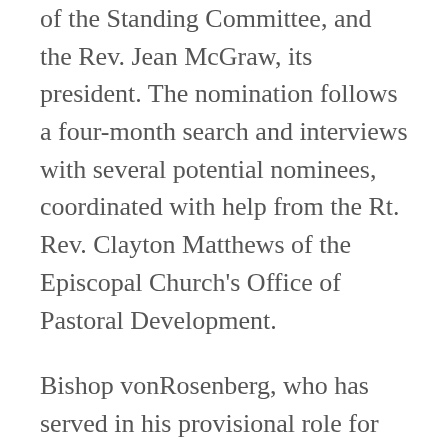of the Standing Committee, and the Rev. Jean McGraw, its president. The nomination follows a four-month search and interviews with several potential nominees, coordinated with help from the Rt. Rev. Clayton Matthews of the Episcopal Church's Office of Pastoral Development.
Bishop vonRosenberg, who has served in his provisional role for 3½ years, announced in January that he would retire after his 2015-16 calendar of episcopal visitations concluded this month. President McGraw said that vonRosenberg, at the standing committee's request, has agreed to remain in office until his successor takes